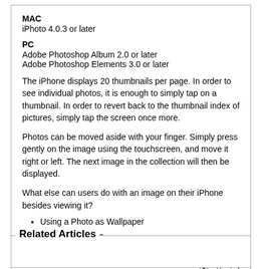MAC
iPhoto 4.0.3 or later
PC
Adobe Photoshop Album 2.0 or later
Adobe Photoshop Elements 3.0 or later
The iPhone displays 20 thumbnails per page. In order to see individual photos, it is enough to simply tap on a thumbnail. In order to revert back to the thumbnail index of pictures, simply tap the screen once more.
Photos can be moved aside with your finger. Simply press gently on the image using the touchscreen, and move it right or left. The next image in the collection will then be displayed.
What else can users do with an image on their iPhone besides viewing it?
Using a Photo as Wallpaper
Emailing a Photo
Assigning a Photo to a Contact
Related Articles